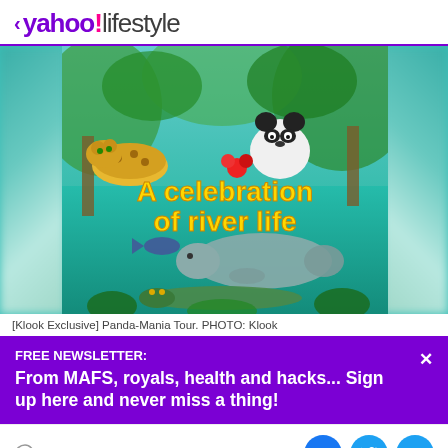< yahoo!lifestyle
[Figure (photo): Illustrated wildlife scene celebrating river life — features a panda, jaguar, manatee, crocodile, and fish in a tropical river setting with text 'A celebration of river life' in yellow]
[Klook Exclusive] Panda-Mania Tour. PHOTO: Klook
FREE NEWSLETTER:
From MAFS, royals, health and hacks... Sign up here and never miss a thing!
View comments